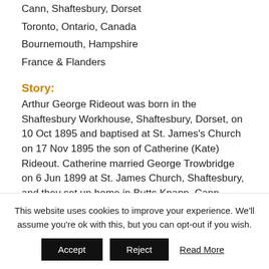Cann, Shaftesbury, Dorset
Toronto, Ontario, Canada
Bournemouth, Hampshire
France & Flanders
Story:
Arthur George Rideout was born in the Shaftesbury Workhouse, Shaftesbury, Dorset, on 10 Oct 1895 and baptised at St. James's Church on 17 Nov 1895 the son of Catherine (Kate) Rideout. Catherine married George Trowbridge on 6 Jun 1899 at St. James Church, Shaftesbury, and they set up home in Butts Knapp, Cann, Shaftesbury.
This website uses cookies to improve your experience. We'll assume you're ok with this, but you can opt-out if you wish.